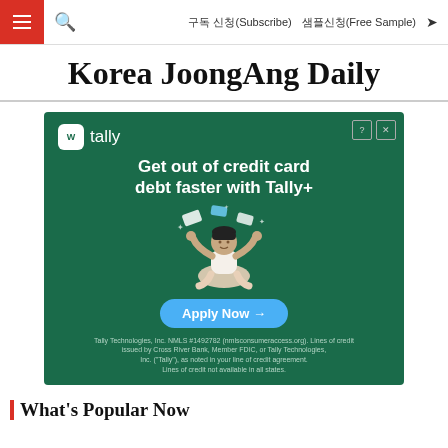구독 신청(Subscribe)  샘플신청(Free Sample)
Korea JoongAng Daily
[Figure (infographic): Tally advertisement: 'Get out of credit card debt faster with Tally+'. Shows Tally logo, illustrated person meditating with credit cards floating around them, an 'Apply Now →' button, and fine print: 'Tally Technologies, Inc. NMLS #1492782 (nmlsconsumeraccess.org). Lines of credit issued by Cross River Bank, Member FDIC, or Tally Technologies, Inc. ("Tally"), as noted in your line of credit agreement. Lines of credit not available in all states.']
What's Popular Now